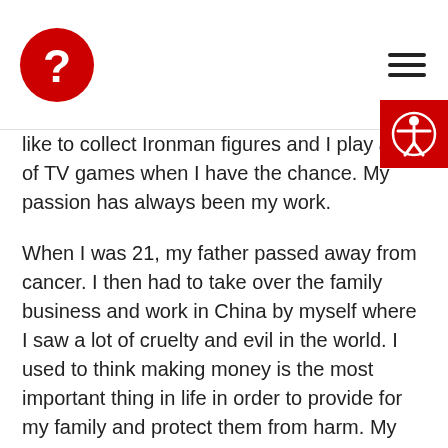[Logo: red question mark icon] [Hamburger menu icon]
like to collect Ironman figures and I play a lot of TV games when I have the chance. My passion has always been my work.
When I was 21, my father passed away from cancer. I then had to take over the family business and work in China by myself where I saw a lot of cruelty and evil in the world. I used to think making money is the most important thing in life in order to provide for my family and protect them from harm. My company was growing faster and faster, but I never really feel peaceful, the more I get in